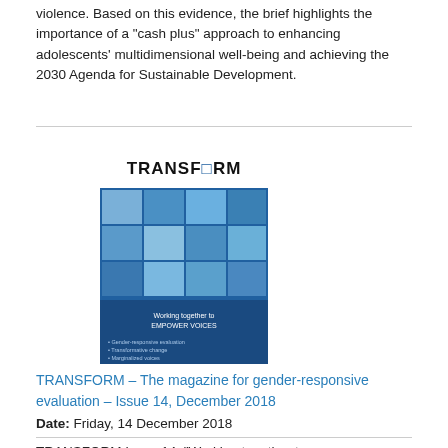violence. Based on this evidence, the brief highlights the importance of a "cash plus" approach to enhancing adolescents' multidimensional well-being and achieving the 2030 Agenda for Sustainable Development.
[Figure (photo): Cover of TRANSFORM magazine Issue 14, December 2018, showing a collage of diverse faces with blue background and the TRANSFORM title at the top.]
TRANSFORM – The magazine for gender-responsive evaluation – Issue 14, December 2018
Date: Friday, 14 December 2018
TRANSFORM Issue 14, "Working together to empower voices", is a special edition focused on the inter-related themes of gender, evaluation, transformative change, marginalized voices, and leaving no one behind in pursuit of Sustainable Development Goal 5.